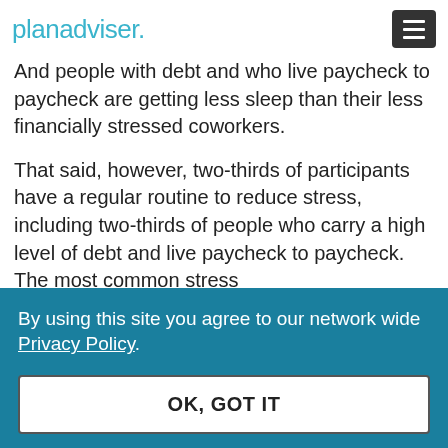planadviser.
And people with debt and who live paycheck to paycheck are getting less sleep than their less financially stressed coworkers.
That said, however, two-thirds of participants have a regular routine to reduce stress, including two-thirds of people who carry a high level of debt and live paycheck to paycheck. The most common stress
By using this site you agree to our network wide Privacy Policy.
OK, GOT IT